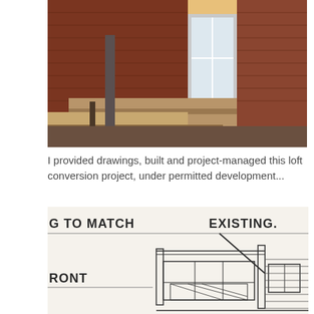[Figure (photo): Photograph of a brick building exterior showing a loft conversion under construction, with timber roof structure and white-framed windows visible.]
I provided drawings, built and project-managed this loft conversion project, under permitted development...
[Figure (engineering-diagram): Hand-drawn architectural elevation sketch showing a loft conversion design with text labels 'G TO MATCH EXISTING.' and 'RONT', depicting front elevation with windows and roof structure.]